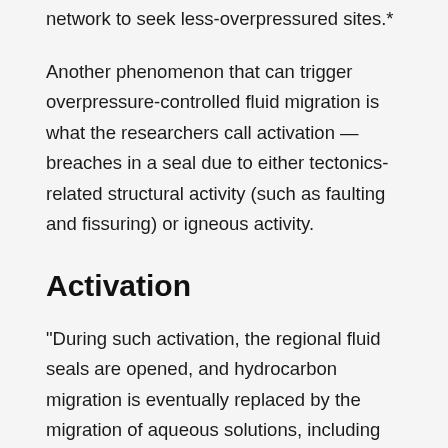network to seek less-overpressured sites.*
Another phenomenon that can trigger overpressure-controlled fluid migration is what the researchers call activation — breaches in a seal due to either tectonics-related structural activity (such as faulting and fissuring) or igneous activity.
Activation
"During such activation, the regional fluid seals are opened, and hydrocarbon migration is eventually replaced by the migration of aqueous solutions, including ore [cation]-bearing fluids," the researchers said.
"The migrating melts and solutions may follow the hydrocarbon migration pathways, and [furthermore]